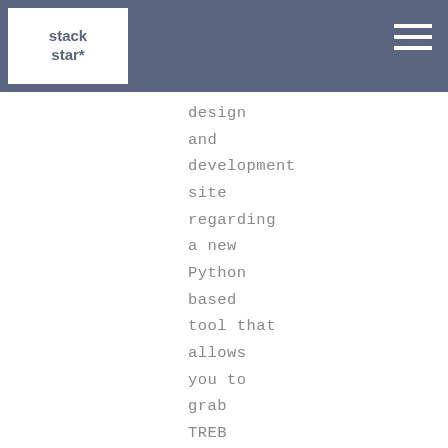stackstar*
design and development site regarding a new Python based tool that allows you to grab TREB listings, listing images and all the TREB data and directly import the extracted data into a WordPress site. The